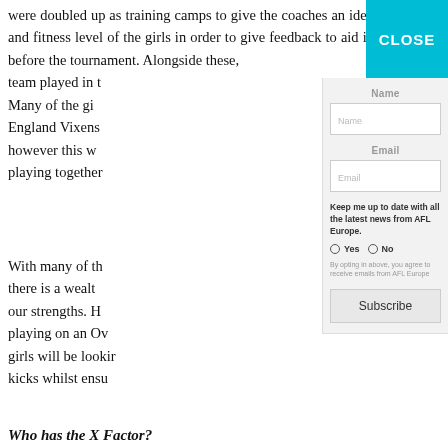were doubled up as training camps to give the coaches an idea of the skill and fitness level of the girls in order to give feedback to aid improvement before the tournament. Alongside these, team played in t Many of the gi England Vixens however this w playing together
With many of th there is a wealt our strengths. H playing on an Ov girls will be lookir kicks whilst ensu
Who has the X Factor?